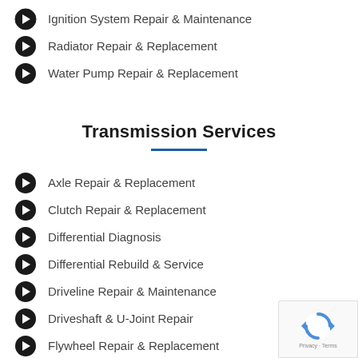Ignition System Repair & Maintenance
Radiator Repair & Replacement
Water Pump Repair & Replacement
Transmission Services
Axle Repair & Replacement
Clutch Repair & Replacement
Differential Diagnosis
Differential Rebuild & Service
Driveline Repair & Maintenance
Driveshaft & U-Joint Repair
Flywheel Repair & Replacement
Transmission Fluid Service